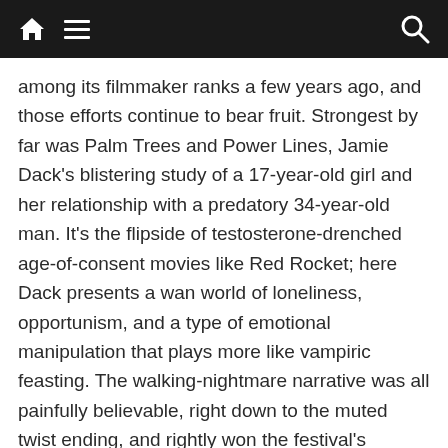Navigation bar with home icon, menu icon, and search icon
among its filmmaker ranks a few years ago, and those efforts continue to bear fruit. Strongest by far was Palm Trees and Power Lines, Jamie Dack’s blistering study of a 17-year-old girl and her relationship with a predatory 34-year-old man. It’s the flipside of testosterone-drenched age-of-consent movies like Red Rocket; here Dack presents a wan world of loneliness, opportunism, and a type of emotional manipulation that plays more like vampiric feasting. The walking-nightmare narrative was all painfully believable, right down to the muted twist ending, and rightly won the festival’s Directing, Editing, and Screenwriting Awards.
Femme-power psycho-cannibal-killer movie Fresh